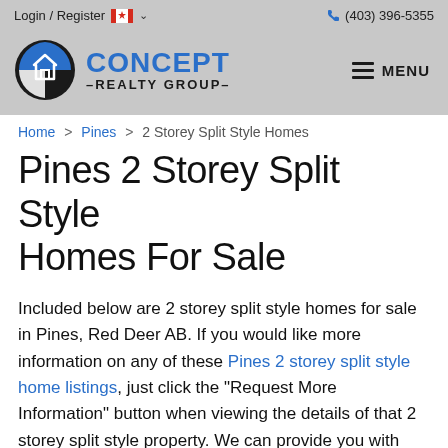Login / Register  (403) 396-5355
[Figure (logo): Concept Realty Group logo with circular blue and black house icon and blue CONCEPT text with REALTY GROUP below, plus hamburger MENU button]
Home > Pines > 2 Storey Split Style Homes
Pines 2 Storey Split Style Homes For Sale
Included below are 2 storey split style homes for sale in Pines, Red Deer AB. If you would like more information on any of these Pines 2 storey split style home listings, just click the "Request More Information" button when viewing the details of that 2 storey split style property. We can provide you with disclosures,